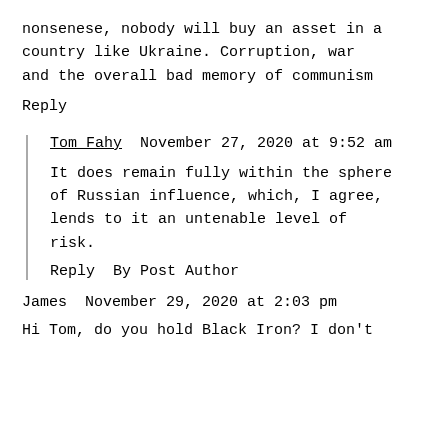nonsenese, nobody will buy an asset in a country like Ukraine. Corruption, war and the overall bad memory of communism
Reply
Tom Fahy  November 27, 2020 at 9:52 am
It does remain fully within the sphere of Russian influence, which, I agree, lends to it an untenable level of risk.
Reply  By Post Author
James  November 29, 2020 at 2:03 pm
Hi Tom, do you hold Black Iron? I don't